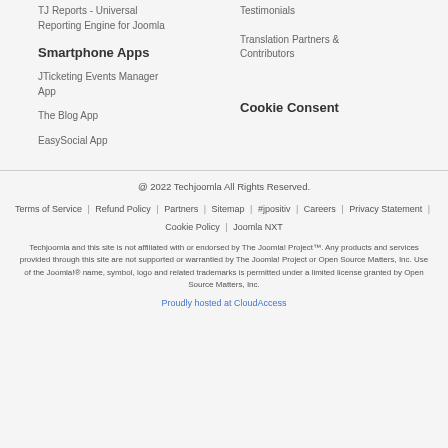TJ Reports - Universal Reporting Engine for Joomla
Testimonials
Translation Partners & Contributors
Smartphone Apps
JTicketing Events Manager App
Cookie Consent
The Blog App
EasySocial App
@ 2022 Techjoomla All Rights Reserved.
Terms of Service | Refund Policy | Partners | Sitemap | #jpositiv | Careers | Privacy Statement | Cookie Policy | Joomla NXT
Techjoomla and this site is not affiliated with or endorsed by The Joomla! Project™. Any products and services provided through this site are not supported or warrantied by The Joomla! Project or Open Source Matters, Inc. Use of the Joomla!® name, symbol, logo and related trademarks is permitted under a limited license granted by Open Source Matters, Inc.
Proudly hosted at CloudAccess